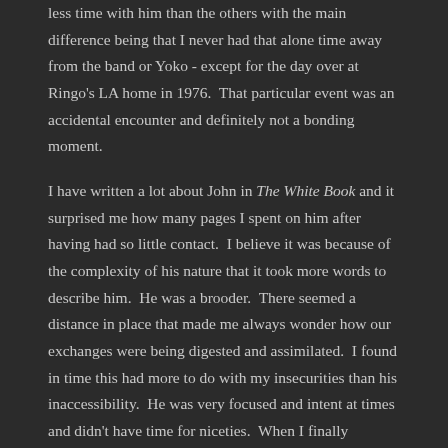less time with him than the others with the main difference being that I never had that alone time away from the band or Yoko - except for the day over at Ringo's LA home in 1976.  That particular event was an accidental encounter and definitely not a bonding moment.
I have written a lot about John in The White Book and it surprised me how many pages I spent on him after having had so little contact.  I believe it was because of the complexity of his nature that it took more words to describe him.  He was a brooder.  There seemed a distance in place that made me always wonder how our exchanges were being digested and assimilated.  I found in time this had more to do with my insecurities than his inaccessibility.  He was very focused and intent at times and didn't have time for niceties.  When I finally understood him better I found this to be because he was very straight ahead and honest when it was one on one time.  John cared about issues of importance and would get very frustrated when he couldn't make matters better.  He was like many of the great artists I worked with who had the odd ability to